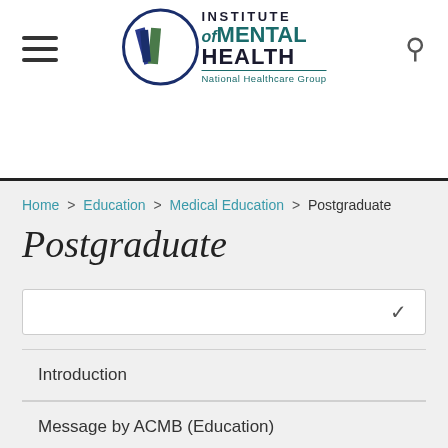[Figure (logo): Institute of Mental Health - National Healthcare Group logo with circular emblem]
Home > Education > Medical Education > Postgraduate
Postgraduate
Introduction
Message by ACMB (Education)